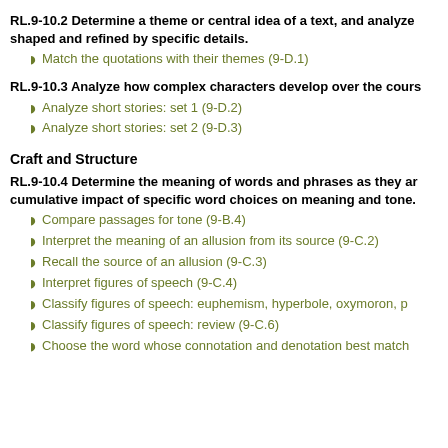RL.9-10.2 Determine a theme or central idea of a text, and analyze how it is shaped and refined by specific details.
Match the quotations with their themes (9-D.1)
RL.9-10.3 Analyze how complex characters develop over the course of a text...
Analyze short stories: set 1 (9-D.2)
Analyze short stories: set 2 (9-D.3)
Craft and Structure
RL.9-10.4 Determine the meaning of words and phrases as they are used in the text, including figurative and connotative meanings; analyze the cumulative impact of specific word choices on meaning and tone.
Compare passages for tone (9-B.4)
Interpret the meaning of an allusion from its source (9-C.2)
Recall the source of an allusion (9-C.3)
Interpret figures of speech (9-C.4)
Classify figures of speech: euphemism, hyperbole, oxymoron, p...
Classify figures of speech: review (9-C.6)
Choose the word whose connotation and denotation best match...